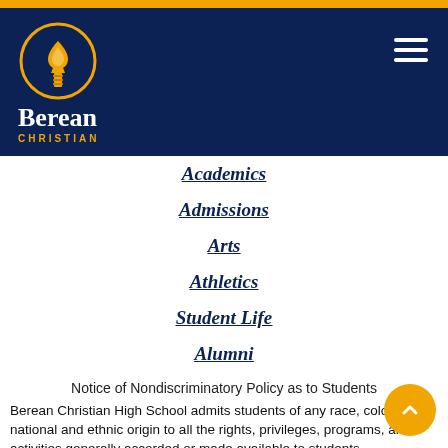[Figure (logo): Berean Christian High School logo: gold torch in gold circle, white text 'Berean' in serif, gold text 'CHRISTIAN' in caps on dark navy background]
Academics
Admissions
Arts
Athletics
Student Life
Alumni
Notice of Nondiscriminatory Policy as to Students
Berean Christian High School admits students of any race, color, national and ethnic origin to all the rights, privileges, programs, and activities generally accorded or made available to students